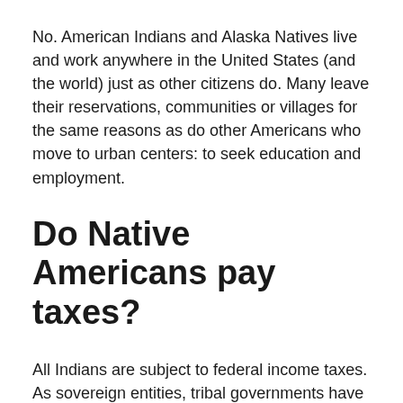No. American Indians and Alaska Natives live and work anywhere in the United States (and the world) just as other citizens do. Many leave their reservations, communities or villages for the same reasons as do other Americans who move to urban centers: to seek education and employment.
Do Native Americans pay taxes?
All Indians are subject to federal income taxes. As sovereign entities, tribal governments have the power to levy taxes on reservation lands. Some tribes do and some don't. As a result, Indians and non-Indians may or may not pay sales taxes on